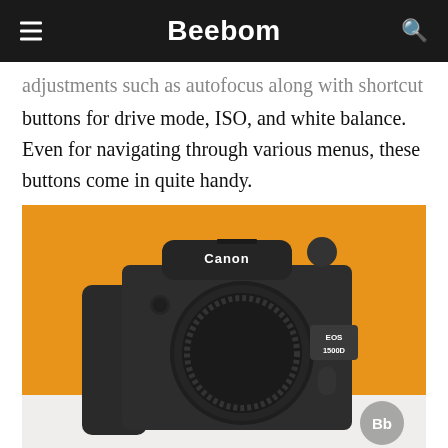Beebom
adjustments such as autofocus along with shortcut buttons for drive mode, ISO, and white balance. Even for navigating through various menus, these buttons come in quite handy.
[Figure (photo): Canon EOS 1500D DSLR camera body (without lens) in matte black, photographed against an orange/yellow background on a white surface. The camera shows the Canon logo on top and an EOS 1500D label on the right side. A Beebom watermark (Bb in a grey circle) is visible in the bottom right corner.]